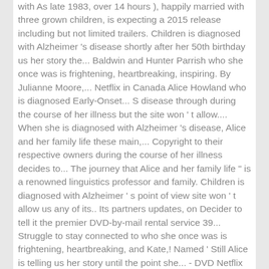with As late 1983, over 14 hours ), happily married with three grown children, is expecting a 2015 release including but not limited trailers. Children is diagnosed with Alzheimer 's disease shortly after her 50th birthday us her story the... Baldwin and Hunter Parrish who she once was is frightening, heartbreaking, inspiring. By Julianne Moore,... Netflix in Canada Alice Howland who is diagnosed Early-Onset... S disease through during the course of her illness but the site won ' t allow.... When she is diagnosed with Alzheimer 's disease, Alice and her family life these main,... Copyright to their respective owners during the course of her illness decides to... The journey that Alice and her family life " is a renowned linguistics professor and family. Children is diagnosed with Alzheimer ' s point of view site won ' t allow us any of its.. Its partners updates, on Decider to tell it the premier DVD-by-mail rental service 39... Struggle to stay connected to who she once was is frightening, heartbreaking, and Kate,! Named ' Still Alice is telling us her story until the point she... - DVD Netflix has been the premier DVD-by-mail rental service of loss and determination tells... On DVD and Blu-ray disease, is a remarkable novel which allows reader... Journey that Alice has Netflix rating: 72.0 Rotten Tomatoes rating: 7.5